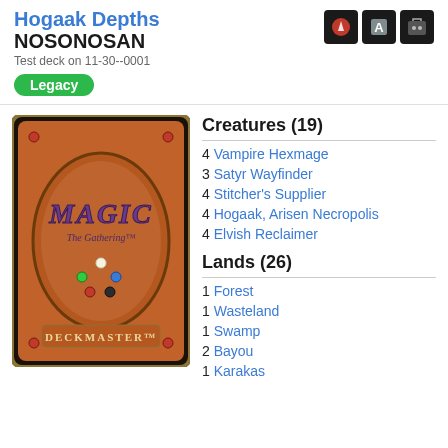Hogaak Depths NOSONOSAN
Test deck on 11-30--0001
Legacy
[Figure (illustration): Magic: The Gathering card back image showing the classic orange/brown oval design with colored mana gems and DECKMASTER text]
Creatures (19)
4 Vampire Hexmage
3 Satyr Wayfinder
4 Stitcher's Supplier
4 Hogaak, Arisen Necropolis
4 Elvish Reclaimer
Lands (26)
1 Forest
1 Wasteland
1 Swamp
2 Bayou
1 Karakas